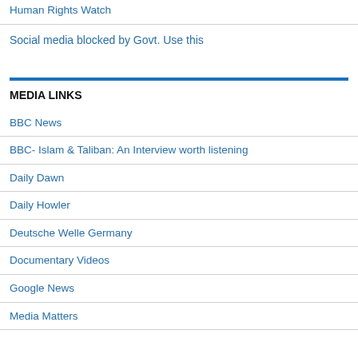Human Rights Watch
Social media blocked by Govt. Use this
MEDIA LINKS
BBC News
BBC- Islam & Taliban: An Interview worth listening
Daily Dawn
Daily Howler
Deutsche Welle Germany
Documentary Videos
Google News
Media Matters